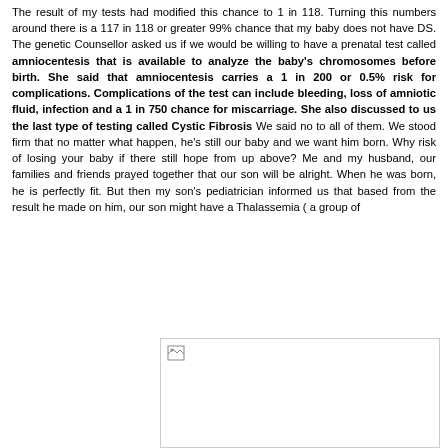The result of my tests had modified this chance to 1 in 118. Turning this numbers around there is a 117 in 118 or greater 99% chance that my baby does not have DS. The genetic Counsellor asked us if we would be willing to have a prenatal test called amniocentesis that is available to analyze the baby's chromosomes before birth. She said that amniocentesis carries a 1 in 200 or 0.5% risk for complications. Complications of the test can include bleeding, loss of amniotic fluid, infection and a 1 in 750 chance for miscarriage. She also discussed to us the last type of testing called Cystic Fibrosis We said no to all of them. We stood firm that no matter what happen, he's still our baby and we want him born. Why risk of losing your baby if there still hope from up above? Me and my husband, our families and friends prayed together that our son will be alright. When he was born, he is perfectly fit. But then my son's pediatrician informed us that based from the result he made on him, our son might have a Thalassemia ( a group of
[Figure (photo): A broken/unloaded image placeholder shown as a white rectangle with a small broken image icon in the top-left corner.]